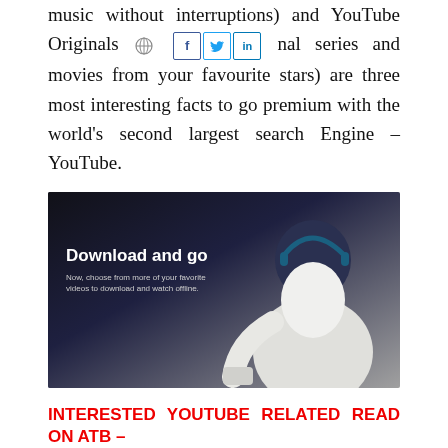music without interruptions) and YouTube Originals (Watch now original series and movies from your favourite stars) are three most interesting facts to go premium with the world's second largest search Engine – YouTube.
[Figure (photo): Dark themed promotional image showing a person from behind wearing headphones, with text 'Download and go — Now, choose from more of your favorite videos to download and watch offline.']
INTERESTED YOUTUBE RELATED READ ON ATB – Here's How to Enable Dark Theme in YouTube App for iPhone & iPad